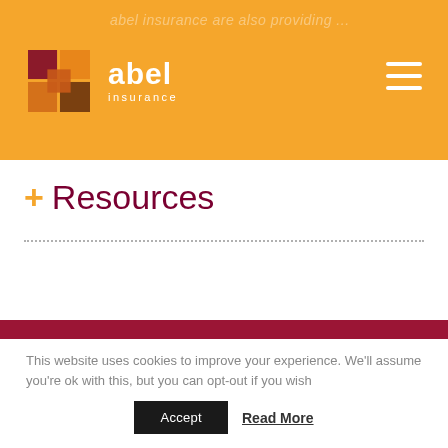[Figure (logo): Abel Insurance logo with colorful mosaic square icon and white text on orange background]
+ Resources
Demystify Business
This website uses cookies to improve your experience. We'll assume you're ok with this, but you can opt-out if you wish.
Accept
Read More